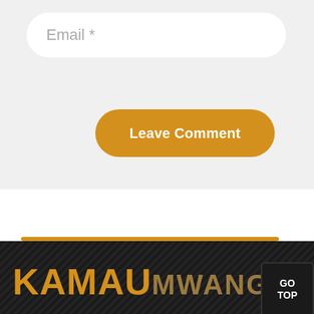[Figure (screenshot): Email input field with placeholder text 'Email *' on a light gray background, with rounded white input box]
[Figure (screenshot): Golden/amber rounded button labeled 'Leave Comment' on light gray background]
[Figure (screenshot): Website footer with dark diagonal-stripe background, gold horizontal divider line, 'KAMAU MWANGO' logo text in gold and dark gold, and a 'GO TOP' button in the bottom right corner]